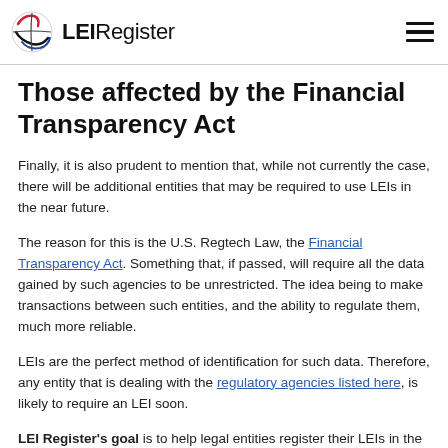LEIRegister
Those affected by the Financial Transparency Act
Finally, it is also prudent to mention that, while not currently the case, there will be additional entities that may be required to use LEIs in the near future.
The reason for this is the U.S. Regtech Law, the Financial Transparency Act. Something that, if passed, will require all the data gained by such agencies to be unrestricted. The idea being to make transactions between such entities, and the ability to regulate them, much more reliable.
LEIs are the perfect method of identification for such data. Therefore, any entity that is dealing with the regulatory agencies listed here, is likely to require an LEI soon.
LEI Register's goal is to help legal entities register their LEIs in the most hassle-free, cost-effective, but it is not a...